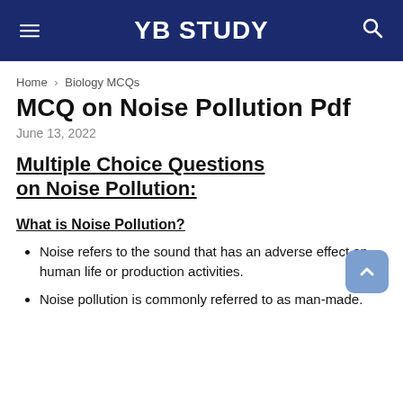YB STUDY
Home › Biology MCQs
MCQ on Noise Pollution Pdf
June 13, 2022
Multiple Choice Questions on Noise Pollution:
What is Noise Pollution?
Noise refers to the sound that has an adverse effect on human life or production activities.
Noise pollution is commonly referred to as man-made.